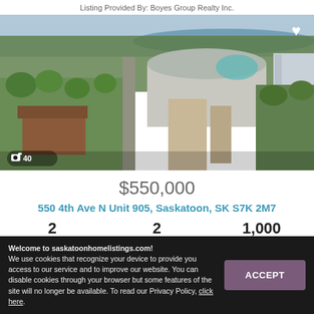Listing Provided By: Boyes Group Realty Inc.
[Figure (photo): Aerial photograph of a city area showing apartment/condo buildings, streets lined with trees, a river visible in the background, and a large arena-style building. Photo counter overlay shows camera icon and '40'.]
$550,000
550 4th Ave N Unit 905, Saskatoon, SK S7K 2M7
2 Beds  2 Baths  1,000 SqFt
Welcome to saskatoonhomelistings.com!
We use cookies that recognize your device to provide you access to our service and to improve our website. You can disable cookies through your browser but some features of the site will no longer be available. To read our Privacy Policy, click here.